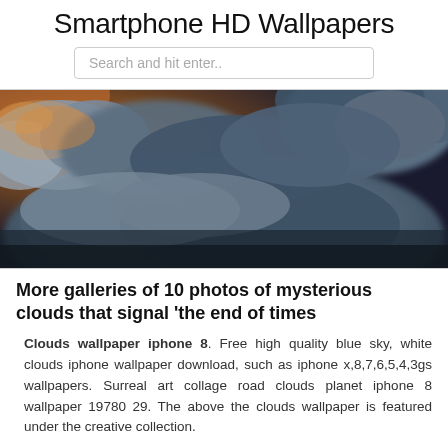Smartphone HD Wallpapers
Search and hit enter..
[Figure (photo): Dark dramatic cloudscape with large dark blue-grey storm clouds and warm orange-brown sunset light breaking through the upper left, viewed from below or at cloud level.]
More galleries of 10 photos of mysterious clouds that signal 'the end of times
Clouds wallpaper iphone 8. Free high quality blue sky, white clouds iphone wallpaper download, such as iphone x,8,7,6,5,4,3gs wallpapers. Surreal art collage road clouds planet iphone 8 wallpaper 19780 29. The above the clouds wallpaper is featured under the creative collection.